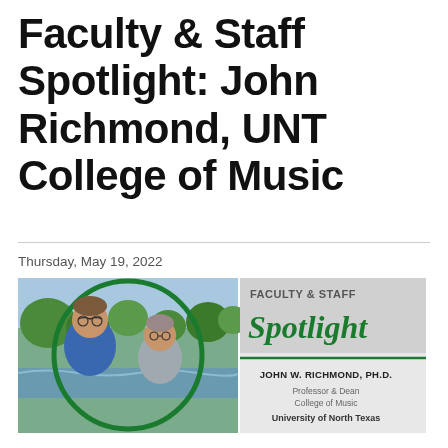Faculty & Staff Spotlight: John Richmond, UNT College of Music
Thursday, May 19, 2022
[Figure (photo): Photo of John W. Richmond, Ph.D. and a woman smiling outdoors near a creek/park setting, alongside a Faculty & Staff Spotlight banner identifying him as Professor & Dean, College of Music, University of North Texas]